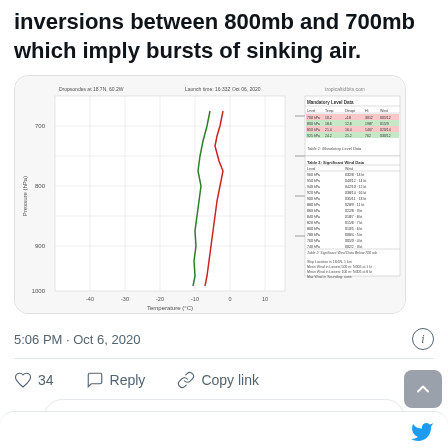inversions between 800mb and 700mb which imply bursts of sinking air.
[Figure (screenshot): Skew-T log-P meteorological sounding chart from tropicaltidbits.com showing temperature and dewpoint profiles with red and green lines, along with data tables for Mandatory Level Data and Significant Wind Data Below 700mb. Dropsondes at 18.7N 60.2W, Launch time 16:33Z Oct 06, 2020.]
5:06 PM · Oct 6, 2020
34  Reply  Copy link
Read 3 replies